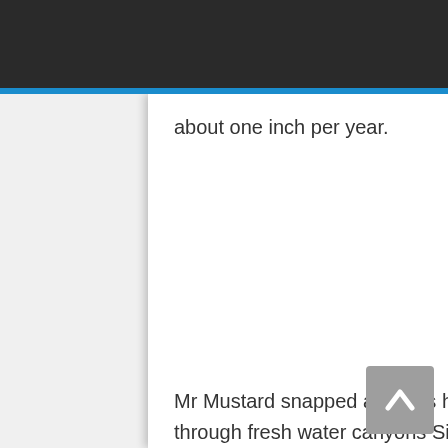[Figure (screenshot): Website navigation bar with dark background, blue hamburger menu button on the left and blue search icon button on the right]
about one inch per year.
Mr Mustard snapped away as he and his dive partners swam through fresh water canyons Silfra, Nes and